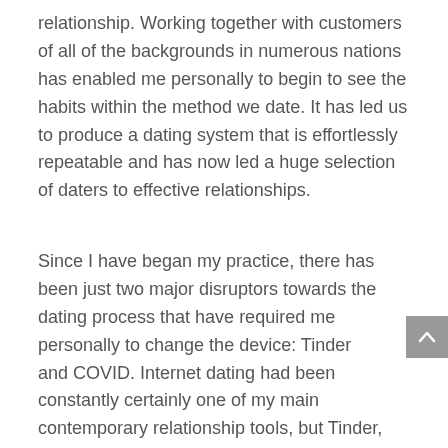relationship. Working together with customers of all of the backgrounds in numerous nations has enabled me personally to begin to see the habits within the method we date. It has led us to produce a dating system that is effortlessly repeatable and has now led a huge selection of daters to effective relationships.
Since I have began my practice, there has been just two major disruptors towards the dating process that have required me personally to change the device: Tinder and COVID. Internet dating had been constantly certainly one of my main contemporary relationship tools, but Tinder, therefore the apps that then then then followed, made online dating sites available to all and forever impacted the dating landscape. Totally totally Free, easy-to-use swipe apps brought like to those who otherwise could have been closed from the dating pool as a result of